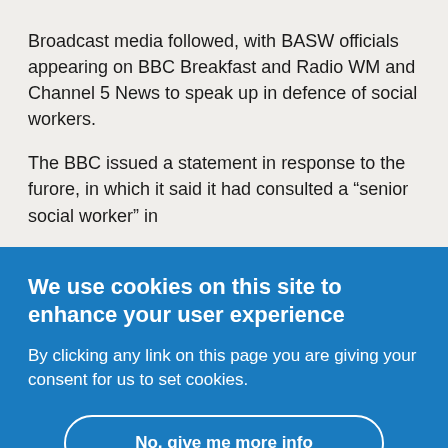Broadcast media followed, with BASW officials appearing on BBC Breakfast and Radio WM and Channel 5 News to speak up in defence of social workers.
The BBC issued a statement in response to the furore, in which it said it had consulted a “senior social worker” in
We use cookies on this site to enhance your user experience
By clicking any link on this page you are giving your consent for us to set cookies.
No, give me more info
OK, I agree